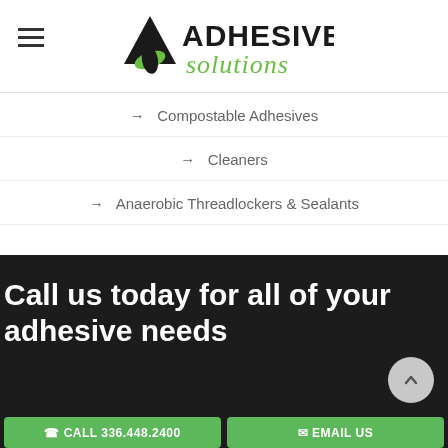[Figure (logo): Adhesive Solutions logo with black triangle drop shape and green swirl, bold black text ADHESIVE and green cursive text solutions]
→  Compostable Adhesives
→  Cleaners
→  Anaerobic Threadlockers & Sealants
Call us today for all of your adhesive needs
CALL 336.448.2400
EMAIL US